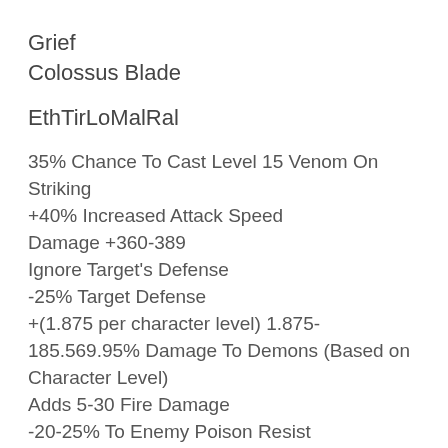Grief
Colossus Blade
EthTirLoMalRal
35% Chance To Cast Level 15 Venom On Striking
+40% Increased Attack Speed
Damage +360-389
Ignore Target's Defense
-25% Target Defense
+(1.875 per character level) 1.875-185.569.95% Damage To Demons (Based on Character Level)
Adds 5-30 Fire Damage
-20-25% To Enemy Poison Resist
20% Deadly Strike
Prevent Monster Heal
+2 To Mana After Each Kill
+10-15 Life After Each Kill